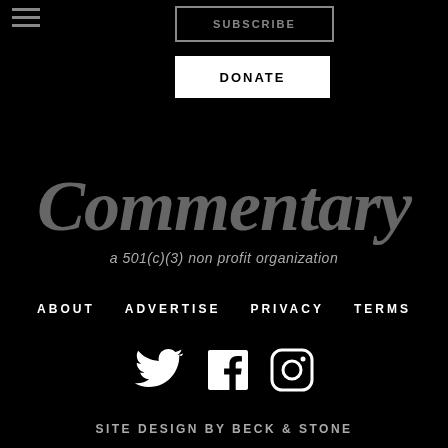SUBSCRIBE
DONATE
Commentary
a 501(c)(3) non profit organization
ABOUT
ADVERTISE
PRIVACY
TERMS
[Figure (illustration): Twitter, Facebook, and Instagram social media icons in white]
SITE DESIGN BY BECK & STONE